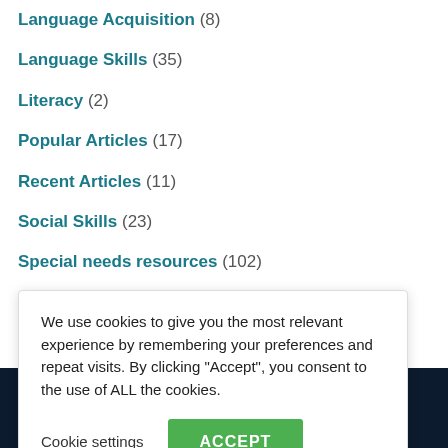Language Acquisition (8)
Language Skills (35)
Literacy (2)
Popular Articles (17)
Recent Articles (11)
Social Skills (23)
Special needs resources (102)
Speech Therapy (5)
We use cookies to give you the most relevant experience by remembering your preferences and repeat visits. By clicking "Accept", you consent to the use of ALL the cookies.
Cookie settings
ACCEPT